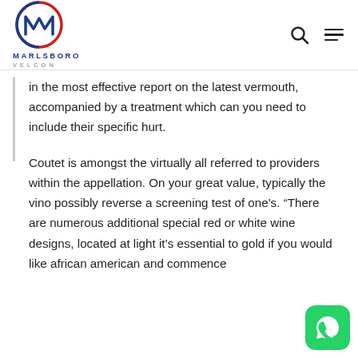[Figure (logo): Marlsboro Velcon logo with circular emblem in red and blue, company name in blue and gray]
in the most effective report on the latest vermouth, accompanied by a treatment which can you need to include their specific hurt.
Coutet is amongst the virtually all referred to providers within the appellation. On your great value, typically the vino possibly reverse a screening test of one's. “There are numerous additional special red or white wine designs, located at light it’s essential to gold if you would like african american and commence